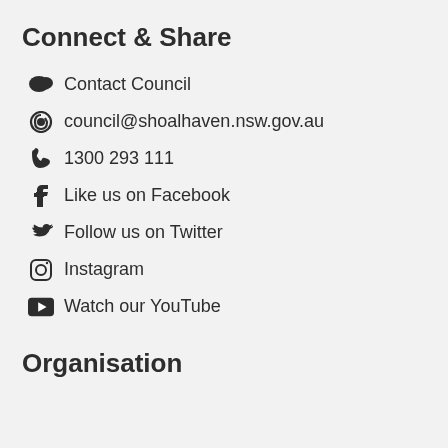Connect & Share
Contact Council
council@shoalhaven.nsw.gov.au
1300 293 111
Like us on Facebook
Follow us on Twitter
Instagram
Watch our YouTube
Organisation